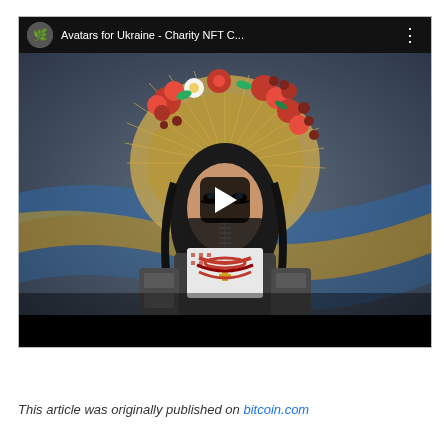[Figure (screenshot): YouTube video thumbnail showing 'Avatars for Ukraine - Charity NFT C...' with a digital illustration of a Ukrainian woman warrior wearing a traditional floral headdress (vinok) with red flowers, holding military equipment, with Ukrainian flag colors (blue and yellow) in the background. A play button overlay is visible in the center.]
This article was originally published on bitcoin.com